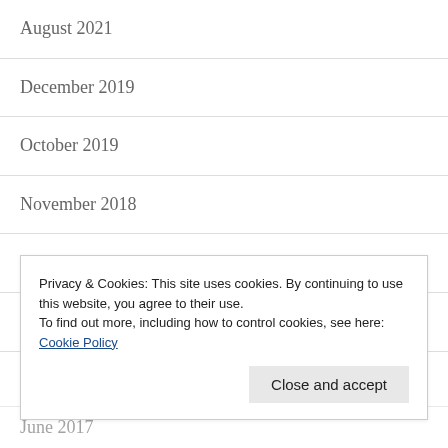August 2021
December 2019
October 2019
November 2018
April 2018
February 2018
January 2018
June 2017
Privacy & Cookies: This site uses cookies. By continuing to use this website, you agree to their use.
To find out more, including how to control cookies, see here: Cookie Policy